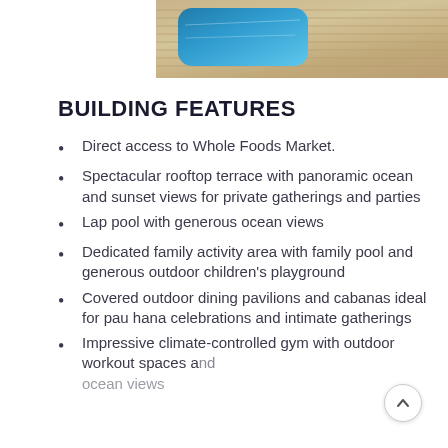[Figure (photo): Rooftop pool and outdoor deck area with ocean view, two photos side by side]
BUILDING FEATURES
Direct access to Whole Foods Market.
Spectacular rooftop terrace with panoramic ocean and sunset views for private gatherings and parties
Lap pool with generous ocean views
Dedicated family activity area with family pool and generous outdoor children's playground
Covered outdoor dining pavilions and cabanas ideal for pau hana celebrations and intimate gatherings
Impressive climate-controlled gym with outdoor workout spaces and ocean views